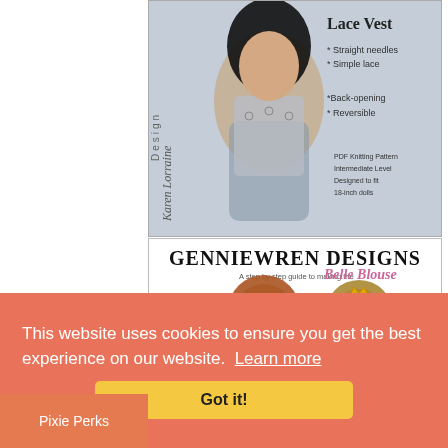[Figure (photo): Product image: Karen Lorraine Design Lace Vest knitting pattern for 18-inch dolls. Shows doll wearing a gray lace knit vest. Text: 'Lace Vest * Straight needles * Simple lace * Back-opening * Reversible PDF Knitting Pattern Intermediate Level Designed to fit 18-inch dolls']
[Figure (photo): Product image: Genniewren Designs step by step guide to making the Belle Blouse, with two doll heads shown. Includes a bonus pattern badge and color swatches.]
This website uses cookies to ensure you get the best experience on our website. Learn more
Got it!
Pixie Perks